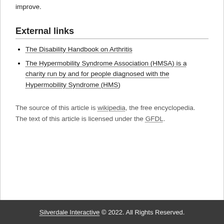improve.
External links
The Disability Handbook on Arthritis
The Hypermobility Syndrome Association (HMSA) is a charity run by and for people diagnosed with the Hypermobility Syndrome (HMS)
The source of this article is wikipedia, the free encyclopedia.  The text of this article is licensed under the GFDL.
Silverdale Interactive © 2022. All Rights Reserved.